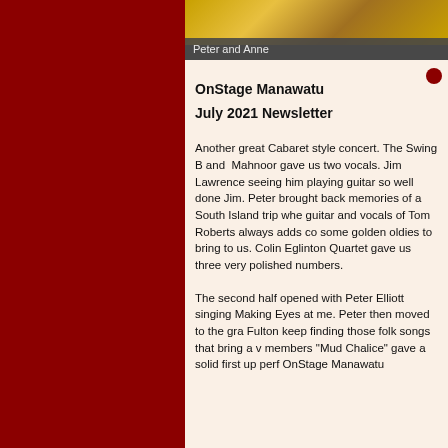[Figure (photo): Photo strip at top showing a yellow/golden scene, with a dark caption bar reading 'Peter and Anne']
Peter and Anne
OnStage Manawatu
July 2021 Newsletter
Another great Cabaret style concert. The Swing B and Mahnoor gave us two vocals. Jim Lawrence seeing him playing guitar so well done Jim. Peter brought back memories of a South Island trip whe guitar and vocals of Tom Roberts always adds co some golden oldies to bring to us. Colin Eglinton Quartet gave us three very polished numbers.
The second half opened with Peter Elliott singing Making Eyes at me. Peter then moved to the gra Fulton keep finding those folk songs that bring a v members "Mud Chalice" gave a solid first up perf OnStage Manawatu